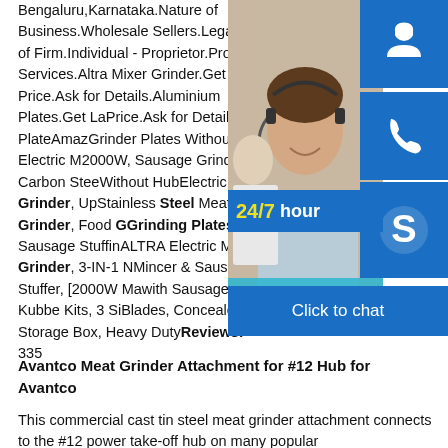Bengaluru,Karnataka.Nature of Business.Wholesale Sellers.Legal Status of Firm.Individual - Proprietor.Products Services.Altra Mixer Grinder.Get Latest Price.Ask for Details.Aluminium Plates.Get Latest Price.Ask for Details.Steel PlateAmazon Grinder Plates Without Hub: Electric M 2000W, Sausage Grinder Carbon Steel Without HubElectric Meat Grinder, Up Stainless Steel Meat Grinder, Food G Grinding Plates and Sausage Stuffing ALTRA Electric Meat Grinder, 3-IN-1 N Mincer & Sausage Stuffer, [2000W Ma with Sausage Tube & Kubbe Kits, 3 Si Blades, Concealed Storage Box, Heavy Duty Reviews: 335
[Figure (photo): Customer support representative smiling, with 24/7 hour bar, headset icon, phone icon, Skype icon, and click to chat bar overlay]
Avantco Meat Grinder Attachment for #12 Hub for Avantco
This commercial cast tin steel meat grinder attachment connects to the #12 power take-off hub on many popular